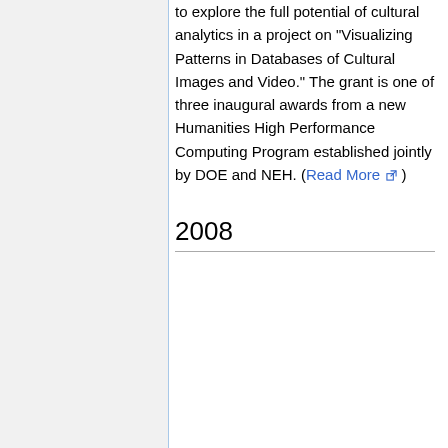to explore the full potential of cultural analytics in a project on “Visualizing Patterns in Databases of Cultural Images and Video.” The grant is one of three inaugural awards from a new Humanities High Performance Computing Program established jointly by DOE and NEH. (Read More)
2008